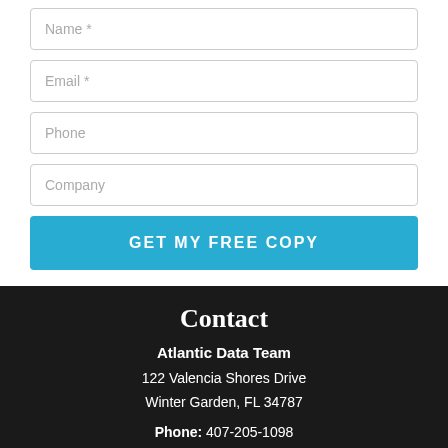Name *
Email *
Phone
Company
GET MY FREE COPY
Contact
Atlantic Data Team
122 Valencia Shores Drive
Winter Garden, FL 34787
Phone: 407-205-1098
386-677-9295